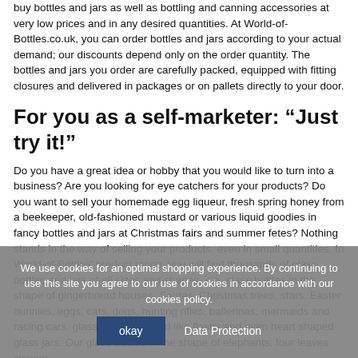buy bottles and jars as well as bottling and canning accessories at very low prices and in any desired quantities. At World-of-Bottles.co.uk, you can order bottles and jars according to your actual demand; our discounts depend only on the order quantity. The bottles and jars you order are carefully packed, equipped with fitting closures and delivered in packages or on pallets directly to your door.
For you as a self-marketer: "Just try it!"
Do you have a great idea or hobby that you would like to turn into a business? Are you looking for eye catchers for your products? Do you want to sell your homemade egg liqueur, fresh spring honey from a beekeeper, old-fashioned mustard or various liquid goodies in fancy bottles and jars at Christmas fairs and summer fetes? Nothing stands in the way of selling your products, even in small quantities. In World-of-Bottles' product range, you will find thousands of glass bottles and jars of all sizes and shapes, e.g. glass bottles in the shape of gingerbread houses, Santas, Christmas trees, stars, Easter bunnies, eggs, cats, dogs, hunting rifles, ballerinas, mermaids and racing cars, glass bottles shaped like flasks and even heart shaped glass jars. Our glass bottles in the shape of elephants, four leaves clovers
We use cookies for an optimal shopping experience. By continuing to use this site you agree to our use of cookies in accordance with our cookies policy.